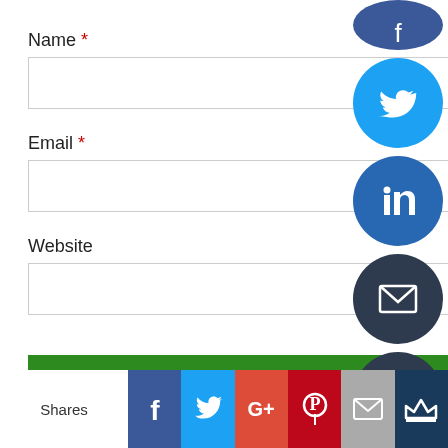Name *
Email *
Website
POST COMMENT
[Figure (infographic): Social media share buttons sidebar: Facebook (blue circle), Twitter (light blue circle), LinkedIn (dark blue circle), Email (dark circle), Copy (dark circle), Print (dark circle)]
[Figure (infographic): Bottom share bar with Shares label, Facebook, Twitter, Google+, Pinterest, Email, and Crown icons]
Shares